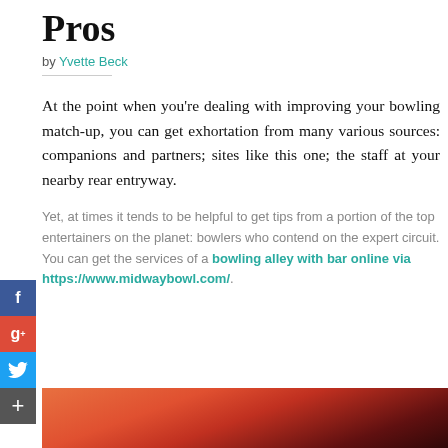Pros
by Yvette Beck
At the point when you're dealing with improving your bowling match-up, you can get exhortation from many various sources: companions and partners; sites like this one; the staff at your nearby rear entryway.
Yet, at times it tends to be helpful to get tips from a portion of the top entertainers on the planet: bowlers who contend on the expert circuit. You can get the services of a bowling alley with bar online via https://www.midwaybowl.com/.
[Figure (photo): Bottom strip showing a bowling alley lane with red/orange lighting]